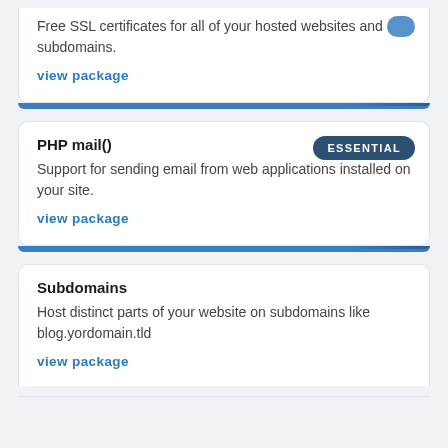Free SSL certificates for all of your hosted websites and subdomains.
view package
PHP mail()
Support for sending email from web applications installed on your site.
view package
Subdomains
Host distinct parts of your website on subdomains like blog.yordomain.tld
view package